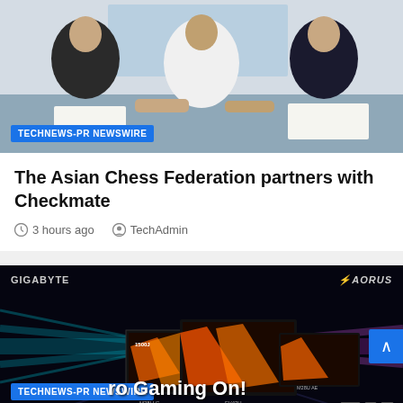[Figure (photo): People seated at a table signing documents, news article image with TECHNEWS-PR NEWSWIRE badge]
The Asian Chess Federation partners with Checkmate
3 hours ago   TechAdmin
[Figure (photo): GIGABYTE AORUS 4K gaming monitor lineup advertisement image with Pro Gaming On! tagline and TECHNEWS-PR NEWSWIRE badge]
GIGABYTE 4K Gaming Monitor Lineup Shines